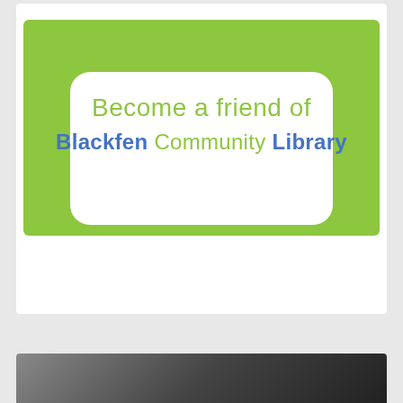[Figure (logo): Become a friend of Blackfen Community Library logo/badge. Green arch-shaped background with white rounded rectangle inset. Text reads 'Become a friend of' in light green, then 'Blackfen Community Library' with Blackfen and Library in blue bold, Community in green.]
[Figure (photo): Partially visible photo at the bottom of the page, appears to be a dark toned image, cropped.]